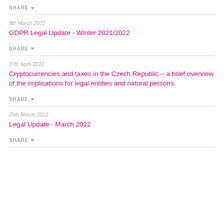SHARE
8th March 2022
GDPR Legal Update - Winter 2021/2022
SHARE
27th April 2022
Cryptocurrencies and taxes in the Czech Republic – a brief overview of the implications for legal entities and natural persons
SHARE
25th March 2022
Legal Update - March 2022
SHARE